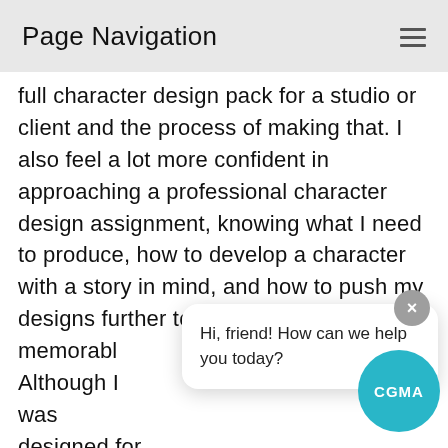Page Navigation
full character design pack for a studio or client and the process of making that. I also feel a lot more confident in approaching a professional character design assignment, knowing what I need to produce, how to develop a character with a story in mind, and how to push my designs further to make a truly memorable character. Although I was designed for T... a full production pipeline for character design before. It's given me a new process to develop characters both for clients and for my own personal
Hi, friend! How can we help you today?